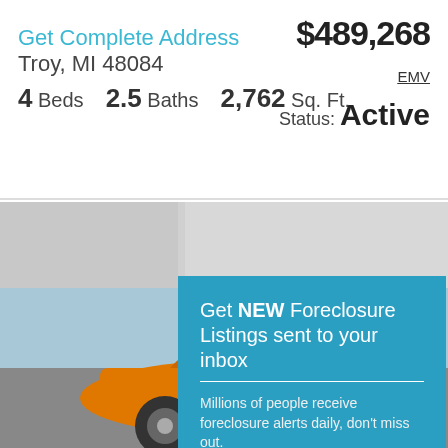Get Complete Address Troy, MI 48084 $489,268
4 Beds   2.5 Baths   2,762 Sq. Ft.
EMV
Status: Active
[Figure (photo): Gray placeholder property photo area with lighter and darker gray sections]
[Figure (infographic): Teal popup overlay: Get NEW Foreclosure Listings sent to your inbox. Millions of people receive foreclosure alerts daily, don't miss out. Signup Here button. No Thanks | Remind Me Later. White envelope icon.]
[Figure (photo): Orange sports car (Audi) in lower portion of page with blue sky background]